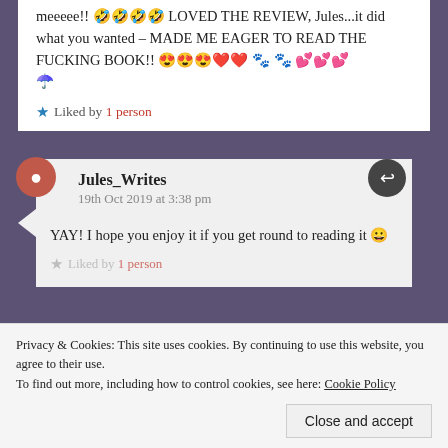meeeee!! 🤣🤣🤣🤣 LOVED THE REVIEW, Jules...it did what you wanted – MADE ME EAGER TO READ THE FUCKING BOOK!! 😍😍😍❤️❤️ 🐾 🐾 💕💕💕 ☂️
★ Liked by 1 person
Jules_Writes
19th Oct 2019 at 3:38 pm
YAY! I hope you enjoy it if you get round to reading it 😀
★ Liked by 1 person
Privacy & Cookies: This site uses cookies. By continuing to use this website, you agree to their use.
To find out more, including how to control cookies, see here: Cookie Policy
Close and accept